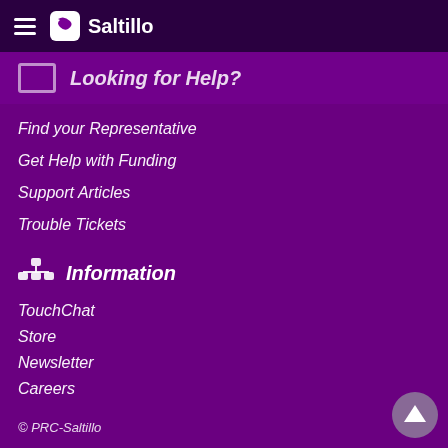Saltillo
Looking for Help?
Find your Representative
Get Help with Funding
Support Articles
Trouble Tickets
Information
TouchChat
Store
Newsletter
Careers
Terms of Use
Privacy
Trademarks
© PRC-Saltillo